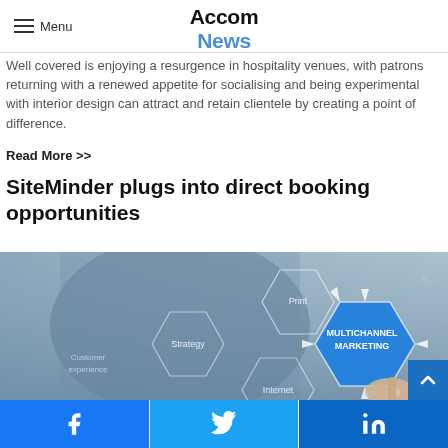Menu | AccomNews
Well covered is enjoying a resurgence in hospitality venues, with patrons returning with a renewed appetite for socialising and being experimental with interior design can attract and retain clientele by creating a point of difference.
Read More >>
SiteMinder plugs into direct booking opportunities
[Figure (photo): A person in a blue suit touching a digital hexagonal multichannel marketing diagram with labels: MULTICHANNEL MARKETING, Strategy, Internet, Print, Customer experience]
Facebook | Twitter | LinkedIn share buttons